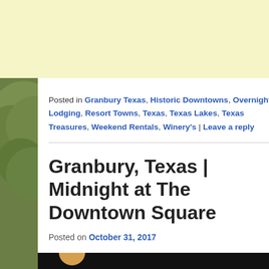[Figure (photo): Light yellow banner background at top of page]
[Figure (photo): Outdoor background photo showing trees with green foliage on left and right sides]
Posted in Granbury Texas, Historic Downtowns, Overnight Lodging, Resort Towns, Texas, Texas Lakes, Texas Treasures, Weekend Rentals, Winery's | Leave a reply
Granbury, Texas | Midnight at The Downtown Square
Posted on October 31, 2017
[Figure (photo): Dark image at bottom, partially visible, appears to be a nighttime or low-light photo]